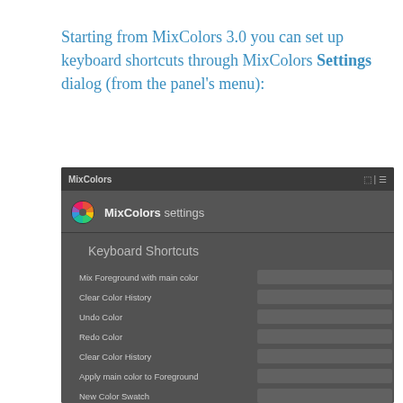Starting from MixColors 3.0 you can set up keyboard shortcuts through MixColors Settings dialog (from the panel's menu):
[Figure (screenshot): MixColors panel settings dialog showing Keyboard Shortcuts section with rows: Mix Foreground with main color, Clear Color History, Undo Color, Redo Color, Clear Color History, Apply main color to Foreground, New Color Swatch — each with an empty input field for setting keyboard shortcuts. A scrollbar is visible on the right.]